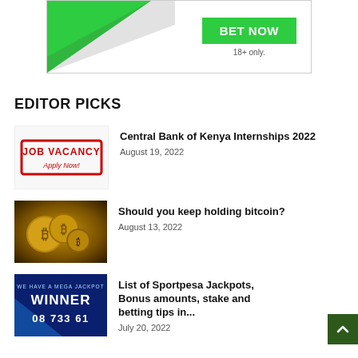[Figure (other): Betting advertisement banner with green triangle accent, BET NOW button in green, and '18+ only.' text]
EDITOR PICKS
[Figure (other): Job Vacancy Apply Now stamp image]
Central Bank of Kenya Internships 2022
August 19, 2022
[Figure (photo): Bitcoin gold coins on dark background]
Should you keep holding bitcoin?
August 13, 2022
[Figure (other): Sportpesa Jackpot Winner banner with blue background showing WINNER text and number 08 733 61]
List of Sportpesa Jackpots, Bonus amounts, stake and betting tips in...
July 20, 2022